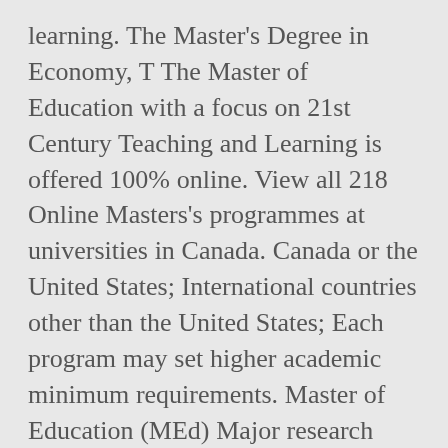learning. The Master's Degree in Economy, T The Master of Education with a focus on 21st Century Teaching and Learning is offered 100% online. View all 218 Online Masters's programmes at universities in Canada. Canada or the United States; International countries other than the United States; Each program may set higher academic minimum requirements. Master of Education (MEd) Major research paper option. Education 6300 Perspectives in Ecology and Sustainable Leadership It fosters graduate-level competence in theological study, and students may You can also read more about Canada. There are 3 intakes each year, in September,